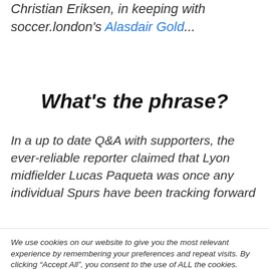Christian Eriksen, in keeping with soccer.london's Alasdair Gold...
What's the phrase?
In a up to date Q&A with supporters, the ever-reliable reporter claimed that Lyon midfielder Lucas Paqueta was once any individual Spurs have been tracking forward
We use cookies on our website to give you the most relevant experience by remembering your preferences and repeat visits. By clicking “Accept All”, you consent to the use of ALL the cookies. However, you may visit "Cookie Settings" to provide a controlled consent.